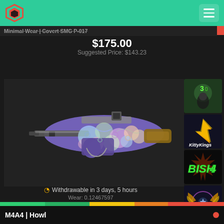Minimal Wear | Covert SMG P-017
$175.00
Suggested Price: $143.23
[Figure (screenshot): Colorful P90 SMG weapon skin with bubble/psychedelic pattern in blue, purple, green colors displayed on dark background]
[Figure (illustration): Four CS:GO stickers shown on the right side: a cartoon character sticker, a lightning bolt sticker, a BISH4 graffiti sticker, and a winged emblem sticker]
Withdrawable in 3 days, 5 hours
Wear: 0.12467597
M4A4 | Howl